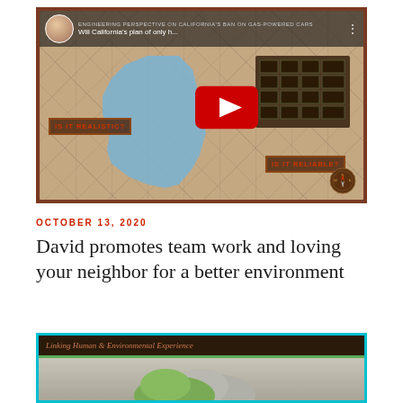[Figure (screenshot): YouTube video thumbnail with title 'Will California's plan of only h...' showing California state map in blue over cracked earth background, a solar panel image on the right, red YouTube play button in center, text badges 'IS IT REALISTIC?' and 'IS IT RELIABLE?', and a compass logo in bottom right.]
OCTOBER 13, 2020
David promotes team work and loving your neighbor for a better environment
[Figure (screenshot): Video thumbnail with dark header bar reading 'Linking Human & Environmental Experience' in italic brown/orange text on dark background, with a green underline, and partial view of hands (one green-tinted) below on a gray background.]